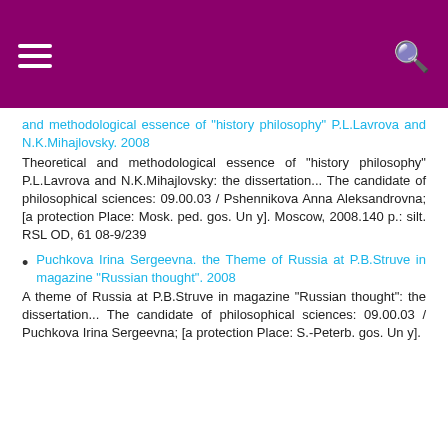[hamburger menu icon] [search icon]
and methodological essence of "history philosophy" P.L.Lavrova and N.K.Mihajlovsky. 2008
Theoretical and methodological essence of "history philosophy" P.L.Lavrova and N.K.Mihajlovsky: the dissertation... The candidate of philosophical sciences: 09.00.03 / Pshennikova Anna Aleksandrovna; [a protection Place: Mosk. ped. gos. Un y]. Moscow, 2008.140 p.: silt. RSL OD, 61 08-9/239
Puchkova Irina Sergeevna. the Theme of Russia at P.B.Struve in magazine "Russian thought". 2008
A theme of Russia at P.B.Struve in magazine "Russian thought": the dissertation... The candidate of philosophical sciences: 09.00.03 / Puchkova Irina Sergeevna; [a protection Place: S.-Peterb. gos. Un y].